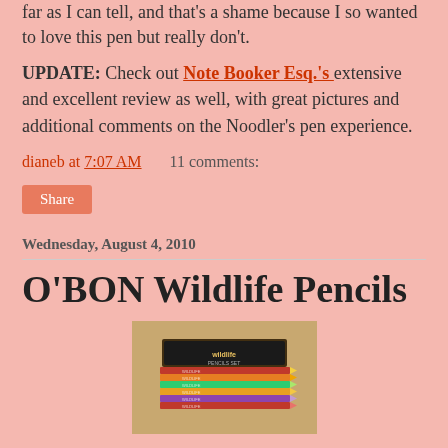far as I can tell, and that's a shame because I so wanted to love this pen but really don't.
UPDATE: Check out Note Booker Esq.'s extensive and excellent review as well, with great pictures and additional comments on the Noodler's pen experience.
dianeb at 7:07 AM    11 comments:
Share
Wednesday, August 4, 2010
O'BON Wildlife Pencils
[Figure (photo): Photo of O'BON Wildlife Pencils set — a bundle of colorful pencils with wildlife/nature designs, shown with packaging box, on a tan/beige background.]